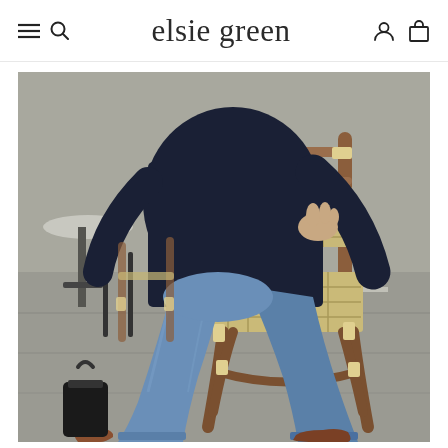elsie green
[Figure (photo): Fashion photo of a person sitting on a rattan bistro chair outdoors on a cobblestone or concrete surface, wearing blue jeans and a dark navy blazer/jacket. The person's legs are crossed, wearing brown leather boots. A black bag is visible on the ground. Another chair and table are visible in the background.]